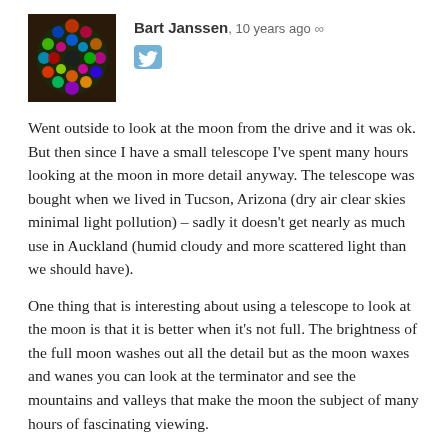[Figure (photo): Avatar photo of Bart Janssen showing a colorful circular image resembling DNA or decorative balls]
Bart Janssen, 10 years ago ∞
[Figure (logo): Twitter bird icon in a rounded square button]
Went outside to look at the moon from the drive and it was ok. But then since I have a small telescope I've spent many hours looking at the moon in more detail anyway. The telescope was bought when we lived in Tucson, Arizona (dry air clear skies minimal light pollution) – sadly it doesn't get nearly as much use in Auckland (humid cloudy and more scattered light than we should have).
One thing that is interesting about using a telescope to look at the moon is that it is better when it's not full. The brightness of the full moon washes out all the detail but as the moon waxes and wanes you can look at the terminator and see the mountains and valleys that make the moon the subject of many hours of fascinating viewing.
Auckland • Since Nov 2006 • 4461 posts
Reply